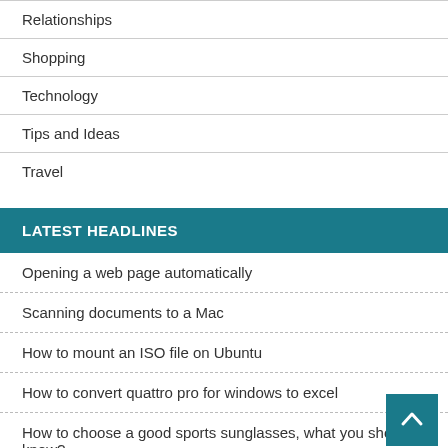Relationships
Shopping
Technology
Tips and Ideas
Travel
LATEST HEADLINES
Opening a web page automatically
Scanning documents to a Mac
How to mount an ISO file on Ubuntu
How to convert quattro pro for windows to excel
How to choose a good sports sunglasses, what you should know?